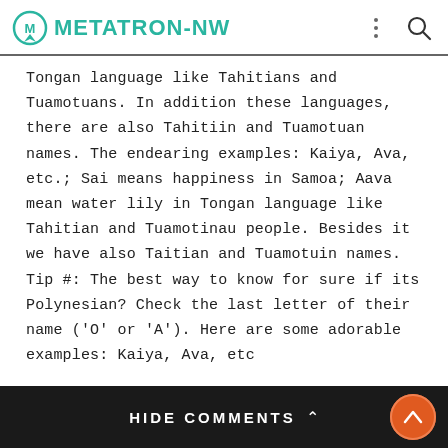METATRON-NW
Tongan language like Tahitians and Tuamotuans. In addition these languages, there are also Tahitiin and Tuamotuan names. The endearing examples: Kaiya, Ava, etc.; Sai means happiness in Samoa; Aava mean water lily in Tongan language like Tahitian and Tuamotinau people. Besides it we have also Taitian and Tuamotuin names. Tip #: The best way to know for sure if its Polynesian? Check the last letter of their name ('O' or 'A'). Here are some adorable examples: Kaiya, Ava, etc
HIDE COMMENTS